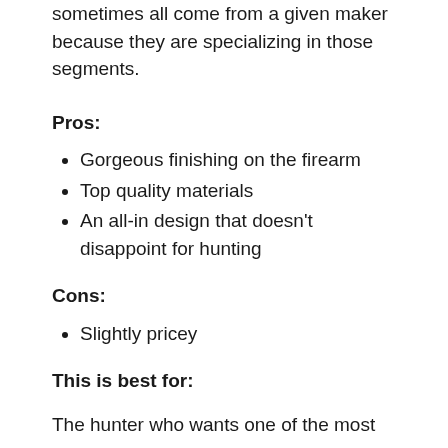sometimes all come from a given maker because they are specializing in those segments.
Pros:
Gorgeous finishing on the firearm
Top quality materials
An all-in design that doesn’t disappoint for hunting
Cons:
Slightly pricey
This is best for:
The hunter who wants one of the most